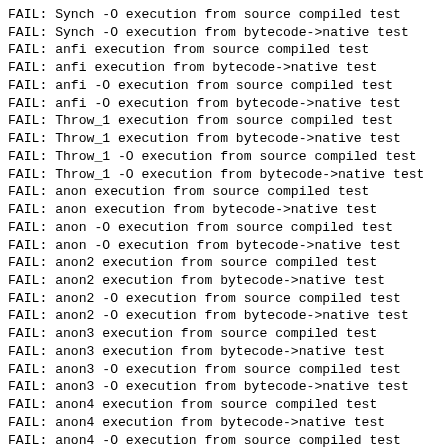FAIL: Synch -O execution from source compiled test
FAIL: Synch -O execution from bytecode->native test
FAIL: anfi execution from source compiled test
FAIL: anfi execution from bytecode->native test
FAIL: anfi -O execution from source compiled test
FAIL: anfi -O execution from bytecode->native test
FAIL: Throw_1 execution from source compiled test
FAIL: Throw_1 execution from bytecode->native test
FAIL: Throw_1 -O execution from source compiled test
FAIL: Throw_1 -O execution from bytecode->native test
FAIL: anon execution from source compiled test
FAIL: anon execution from bytecode->native test
FAIL: anon -O execution from source compiled test
FAIL: anon -O execution from bytecode->native test
FAIL: anon2 execution from source compiled test
FAIL: anon2 execution from bytecode->native test
FAIL: anon2 -O execution from source compiled test
FAIL: anon2 -O execution from bytecode->native test
FAIL: anon3 execution from source compiled test
FAIL: anon3 execution from bytecode->native test
FAIL: anon3 -O execution from source compiled test
FAIL: anon3 -O execution from bytecode->native test
FAIL: anon4 execution from source compiled test
FAIL: anon4 execution from bytecode->native test
FAIL: anon4 -O execution from source compiled test
FAIL: anon4 -O execution from bytecode->native test
FAIL: anonarray execution from source compiled test
FAIL: anonarray execution from bytecode->native test
FAIL: anonarray -O execution from source compiled test
FAIL: anonarray -O execution from bytecode->native test